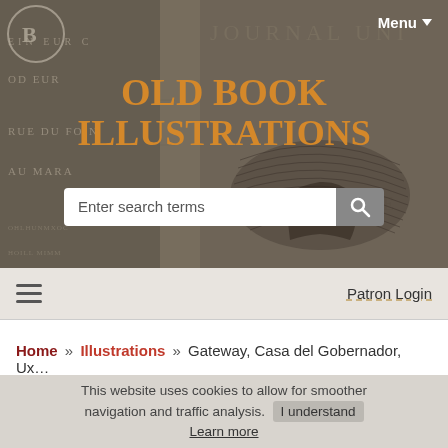[Figure (screenshot): Hero banner background with vintage newspaper/engraving texture in dark brownish-gray tones, showing partial text like 'JOURNAL UNI', 'RUE DU FOIN', 'AU MARA', a straw hat illustration, and an 'OBI' logo circle at top left.]
OLD BOOK ILLUSTRATIONS
Enter search terms [search icon]
Menu ▼
☰   Patron Login
Home » Illustrations » Gateway, Casa del Gobernador, Ux...
This website uses cookies to allow for smoother navigation and traffic analysis. I understand Learn more